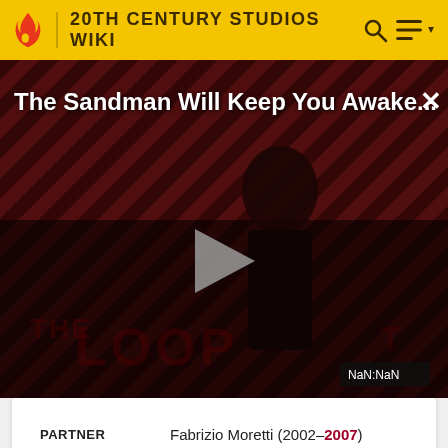20TH CENTURY STUDIOS WIKI
[Figure (screenshot): Video thumbnail for 'The Sandman Will Keep You Awake...' showing a dark figure in black on a striped dark red background, with THE LOOP watermark. A play button is centered. Timestamp shows NaN:NaN.]
| PARTNER | Fabrizio Moretti (2002–2007) |
| CHILDREN | 2 |